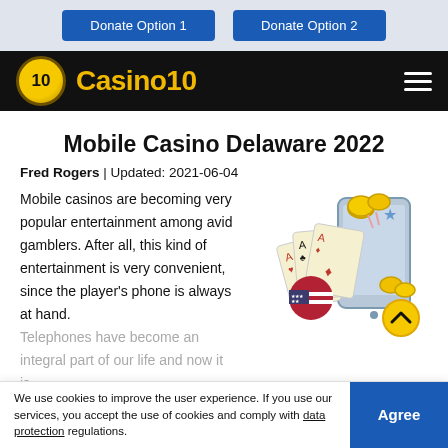Donate Option 1  Donate Option 2
[Figure (logo): Casino10 logo with golden coin showing '10' and text 'Casino10' in gold on black navigation bar, with hamburger menu icon]
Mobile Casino Delaware 2022
Fred Rogers | Updated: 2021-06-04
Mobile casinos are becoming very popular entertainment among avid gamblers. After all, this kind of entertainment is very convenient, since the player's phone is always at hand. Telephones have become an integral part of our life and now it is
[Figure (illustration): Illustration showing playing cards, coins, a smartphone, a US flag circle, a star, and an orange circle with chevron up icon]
SHOW MORE
We use cookies to improve the user experience. If you use our services, you accept the use of cookies and comply with data protection regulations.